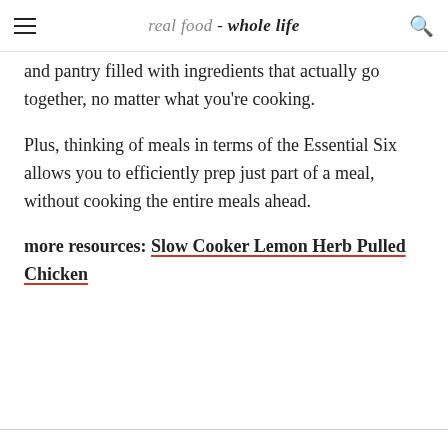real food - whole life
and pantry filled with ingredients that actually go together, no matter what you're cooking.
Plus, thinking of meals in terms of the Essential Six allows you to efficiently prep just part of a meal, without cooking the entire meals ahead.
more resources: Slow Cooker Lemon Herb Pulled Chicken